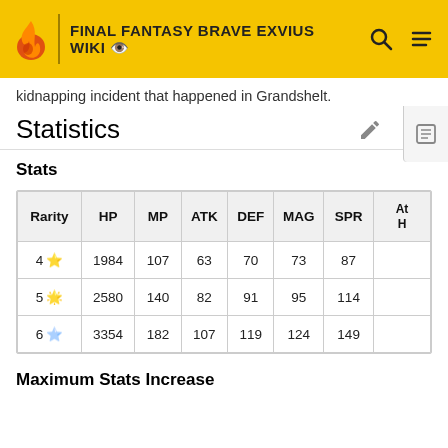FINAL FANTASY BRAVE EXVIUS WIKI
kidnapping incident that happened in Grandshelt.
Statistics
Stats
| Rarity | HP | MP | ATK | DEF | MAG | SPR | At H |
| --- | --- | --- | --- | --- | --- | --- | --- |
| 4 ★ | 1984 | 107 | 63 | 70 | 73 | 87 |  |
| 5 ★ | 2580 | 140 | 82 | 91 | 95 | 114 |  |
| 6 ★ | 3354 | 182 | 107 | 119 | 124 | 149 |  |
Maximum Stats Increase